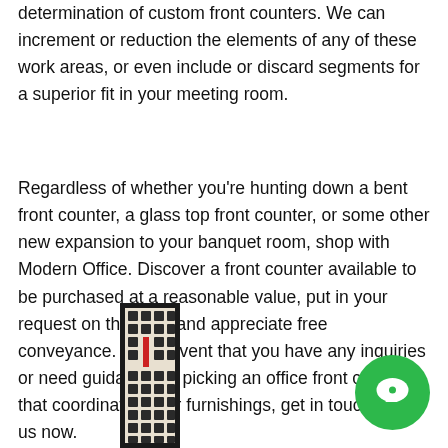determination of custom front counters. We can increment or reduction the elements of any of these work areas, or even include or discard segments for a superior fit in your meeting room.
Regardless of whether you're hunting down a bent front counter, a glass top front counter, or some other new expansion to your banquet room, shop with Modern Office. Discover a front counter available to be purchased at a reasonable value, put in your request on the web, and appreciate free conveyance. In the event that you have any inquiries or need guidance on picking an office front counter that coordinates your furnishings, get in touch with us now.
[Figure (photo): A decorative vertical panel with geometric lattice pattern in dark frame with a red accent element, partially visible at bottom of page.]
[Figure (illustration): A green circular chat/messaging button icon with a white chat bubble symbol, positioned at bottom right.]